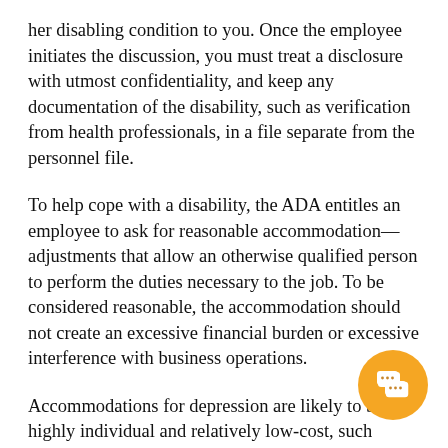her disabling condition to you. Once the employee initiates the discussion, you must treat a disclosure with utmost confidentiality, and keep any documentation of the disability, such as verification from health professionals, in a file separate from the personnel file.
To help cope with a disability, the ADA entitles an employee to ask for reasonable accommodation—adjustments that allow an otherwise qualified person to perform the duties necessary to the job. To be considered reasonable, the accommodation should not create an excessive financial burden or excessive interference with business operations.
Accommodations for depression are likely to be highly individual and relatively low-cost, such changes in schedule, to-do lists or instructions writing, regular meetings with a supervisor to set